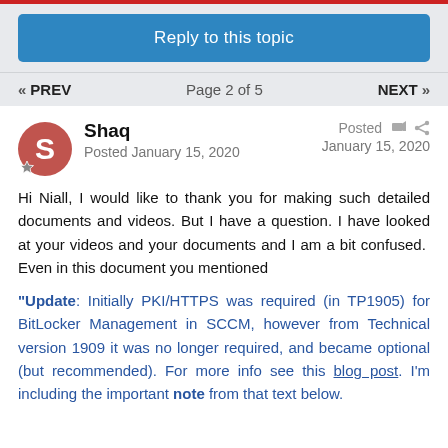Reply to this topic
« PREV   Page 2 of 5   NEXT »
Shaq
Posted January 15, 2020
Posted
January 15, 2020
Hi Niall, I would like to thank you for making such detailed documents and videos. But I have a question. I have looked at your videos and your documents and I am a bit confused.  Even in this document you mentioned
"Update: Initially PKI/HTTPS was required (in TP1905) for BitLocker Management in SCCM, however from Technical version 1909 it was no longer required, and became optional (but recommended). For more info see this blog post. I'm including the important note from that text below.